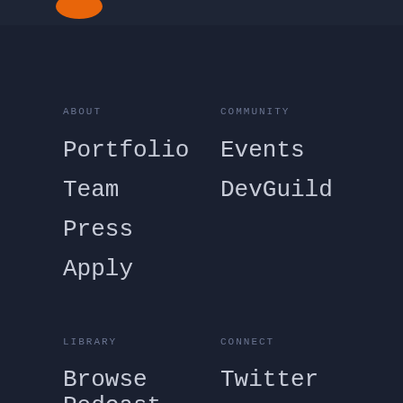[Figure (screenshot): Dark navigation menu with orange logo partially visible at top. Two-column layout with section headers and navigation links.]
ABOUT
Portfolio
Team
Press
Apply
COMMUNITY
Events
DevGuild
LIBRARY
Browse
Podcast
CONNECT
Twitter